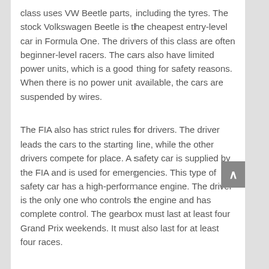class uses VW Beetle parts, including the tyres. The stock Volkswagen Beetle is the cheapest entry-level car in Formula One. The drivers of this class are often beginner-level racers. The cars also have limited power units, which is a good thing for safety reasons. When there is no power unit available, the cars are suspended by wires.
The FIA also has strict rules for drivers. The driver leads the cars to the starting line, while the other drivers compete for place. A safety car is supplied by the FIA and is used for emergencies. This type of safety car has a high-performance engine. The driver is the only one who controls the engine and has complete control. The gearbox must last at least four Grand Prix weekends. It must also last for at least four races.